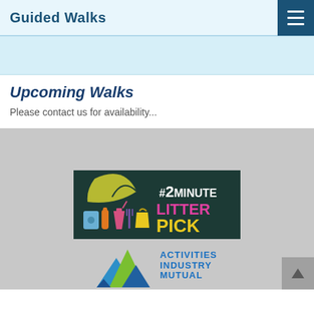Guided Walks
Upcoming Walks
Please contact us for availability...
[Figure (logo): #2MINUTE LITTER PICK logo on dark green background with illustrated litter items and a yellow leaf graphic]
[Figure (logo): Activities Industry Mutual logo with blue and green mountain shapes]